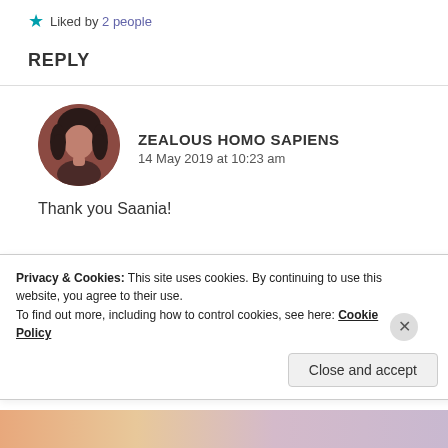Liked by 2 people
REPLY
[Figure (photo): Circular avatar photo of a person with dark hair, brownish-red toned image.]
ZEALOUS HOMO SAPIENS
14 May 2019 at 10:23 am
Thank you Saania!
Privacy & Cookies: This site uses cookies. By continuing to use this website, you agree to their use.
To find out more, including how to control cookies, see here: Cookie Policy
Close and accept